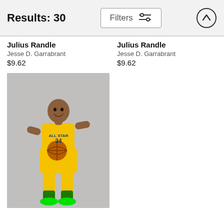Results: 30  Filters
Julius Randle
Jesse D. Garrabrant
$9.62
Julius Randle
Jesse D. Garrabrant
$9.62
[Figure (photo): Basketball player in yellow All Star #34 jersey holding a basketball, wearing bright green shoes, full body shot on grey background]